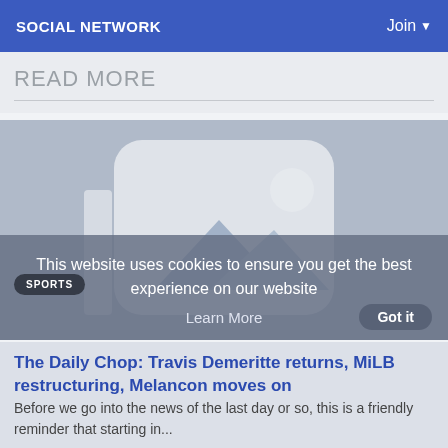SOCIAL NETWORK   Join
READ MORE
[Figure (photo): Placeholder image with image icon (mountains and sun) on a blue-grey background. A cookie consent overlay reads: 'This website uses cookies to ensure you get the best experience on our website' with a 'Learn More' and 'Got it' button. A 'SPORTS' badge is visible.]
The Daily Chop: Travis Demeritte returns, MiLB restructuring, Melancon moves on
Before we go into the news of the last day or so, this is a friendly reminder that starting in...